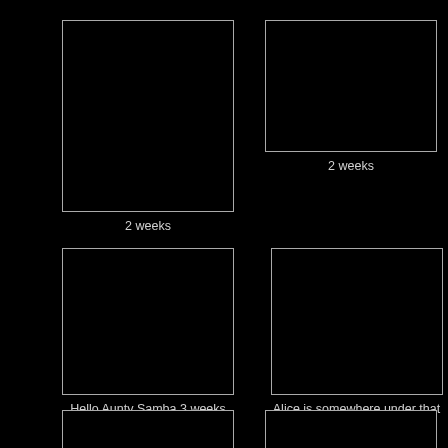[Figure (photo): Black photo placeholder, top-left, labeled '2 weeks']
2 weeks
[Figure (photo): Black photo placeholder, top-right, labeled '2 weeks']
2 weeks
[Figure (photo): Black photo placeholder, middle-left, labeled 'Hello Aunty Samba 3 weeks']
Hello Aunty Samba 3 weeks
[Figure (photo): Black photo placeholder, middle-right, labeled 'Alice is somewhere under that pile of puppies - 3 weeks']
Alice is somewhere under that pile of puppies - 3 weeks
[Figure (photo): Black photo placeholder, bottom-left, partially visible]
[Figure (photo): Black photo placeholder, bottom-right, partially visible]